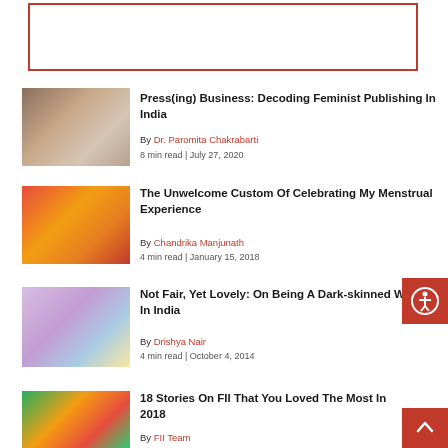[Figure (other): Advertisement banner with red border]
Press(ing) Business: Decoding Feminist Publishing In India
By Dr. Paromita Chakrabarti
8 min read | July 27, 2020
The Unwelcome Custom Of Celebrating My Menstrual Experience
By Chandrika Manjunath
4 min read | January 15, 2018
Not Fair, Yet Lovely: On Being A Dark-skinned Woman In India
By Drishya Nair
4 min read | October 4, 2014
18 Stories On FII That You Loved The Most In 2018
By FII Team